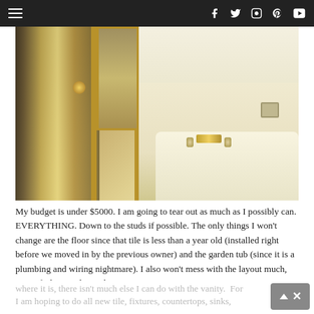≡   f  𝕏  ⊙  ℗  ▶
[Figure (photo): Bathroom interior showing a glass-framed shower enclosure with gold/brass hardware on the left, a large bathtub with brass faucet and knobs in the center-right, cream/beige tile walls and surround, and a small electrical outlet on the far right wall.]
My budget is under $5000.  I am going to tear out as much as I possibly can. EVERYTHING. Down to the studs if possible. The only things I won't change are the floor since that tile is less than a year old (installed right before we moved in by the previous owner) and the garden tub (since it is a plumbing and wiring nightmare). I also won't mess with the layout much, since if I have to leave the tub where it is, there isn't much else I can do with the vanity.  For I am hoping to do all new tile, fixtures, countertops, sinks, frameless